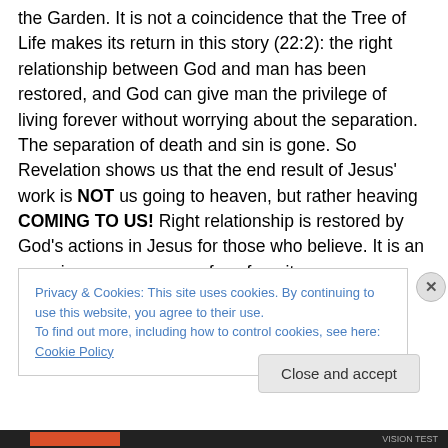the Garden.  It is not a coincidence that the Tree of Life makes its return in this story (22:2): the right relationship between God and man has been restored, and God can give man the privilege of living forever without worrying about the separation.  The separation of death and sin is gone.  So Revelation shows us that the end result of Jesus' work is NOT us going to heaven, but rather heaving COMING TO US!  Right relationship is restored by God's actions in Jesus for those who believe.  It is an amazing passage, one of my favorites.
Privacy & Cookies: This site uses cookies. By continuing to use this website, you agree to their use.
To find out more, including how to control cookies, see here: Cookie Policy
Close and accept